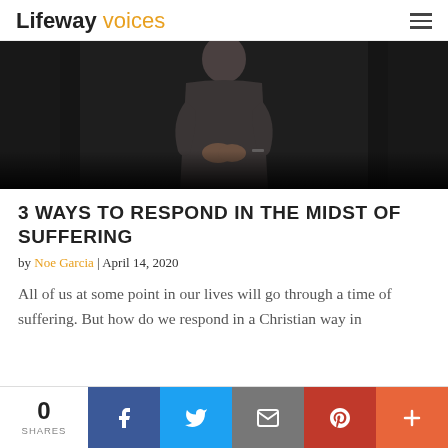Lifeway voices
[Figure (photo): A person in a dark t-shirt standing against a dark background with hands clasped in front, partially visible from torso up.]
3 WAYS TO RESPOND IN THE MIDST OF SUFFERING
by Noe Garcia | April 14, 2020
All of us at some point in our lives will go through a time of suffering. But how do we respond in a Christian way in